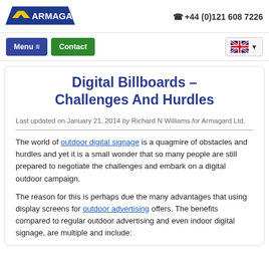[Figure (logo): Armagard logo with blue shield and yellow chevron]
☎ +44 (0)121 608 7226
Menu ≡
Contact
[Figure (illustration): UK flag (Union Jack) with dropdown arrow]
Digital Billboards – Challenges And Hurdles
Last updated on January 21, 2014 by Richard N Williams for Armagard Ltd.
The world of outdoor digital signage is a quagmire of obstacles and hurdles and yet it is a small wonder that so many people are still prepared to negotiate the challenges and embark on a digital outdoor campaign.
The reason for this is perhaps due the many advantages that using display screens for outdoor advertising offers. The benefits compared to regular outdoor advertising and even indoor digital signage, are multiple and include: